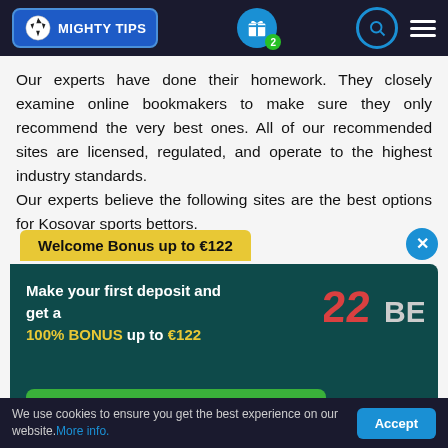[Figure (logo): MightyTips website header with logo, gift icon with badge '2', search icon, and hamburger menu on dark background]
Our experts have done their homework. They closely examine online bookmakers to make sure they only recommend the very best ones. All of our recommended sites are licensed, regulated, and operate to the highest industry standards.
Our experts believe the following sites are the best options for Kosovar sports bettors.
Welcome Bonus up to €122
Make your first deposit and get a 100% BONUS up to €122
CLAIM THE BONUS
We use cookies to ensure you get the best experience on our website. More info.